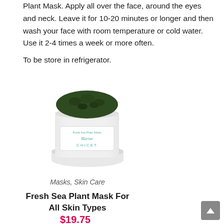Plant Mask. Apply all over the face, around the eyes and neck. Leave it for 10-20 minutes or longer and then wash your face with room temperature or cold water. Use it 2-4 times a week or more often.
To be store in refrigerator.
[Figure (photo): A white jar of Fresh Sea Plant Mask by CHICET, filled with dark green product, with the lid placed in front of the jar.]
Masks, Skin Care
Fresh Sea Plant Mask For All Skin Types
$19.75